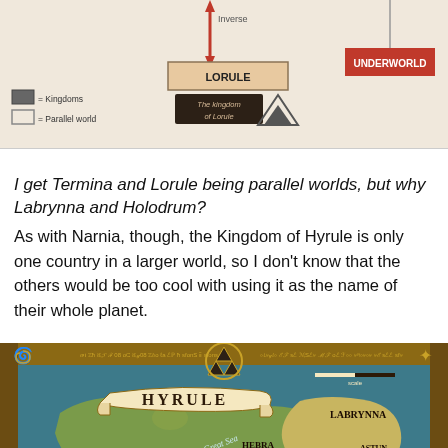[Figure (infographic): Diagram showing Lorule as a parallel kingdom with an inverse arrow, a legend showing Kingdom and Parallel world symbols, and UNDERWORLD label on the right. LORULE box with 'The kingdom of Lorule' text and a downward triangle symbol.]
I get Termina and Lorule being parallel worlds, but why Labrynna and Holodrum?
As with Narnia, though, the Kingdom of Hyrule is only one country in a larger world, so I don't know that the others would be too cool with using it as the name of their whole planet.
[Figure (map): Fantasy map of Hyrule world showing regions including Hyrule (center, labeled with banner), Darunia, Holodrum, Natzu, Labrynna, Hebra, Eldin, Lanayru, and other areas. Map has ornate border with triangular Triforce symbol at top center, compass rose at top right, and decorative spiral at top left. Map shows landmasses surrounded by The Great Sea.]